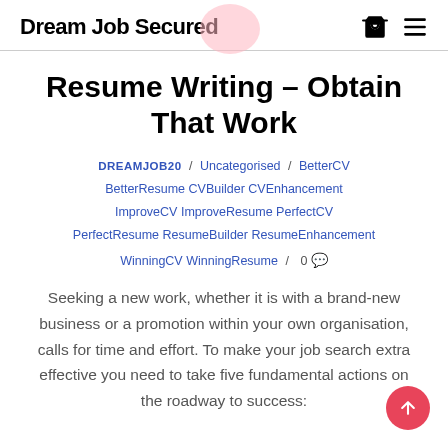Dream Job Secured
Resume Writing – Obtain That Work
DREAMJOB20 / Uncategorised / BetterCV BetterResume CVBuilder CVEnhancement ImproveCV ImproveResume PerfectCV PerfectResume ResumeBuilder ResumeEnhancement WinningCV WinningResume / 0
Seeking a new work, whether it is with a brand-new business or a promotion within your own organisation, calls for time and effort. To make your job search extra effective you need to take five fundamental actions on the roadway to success: